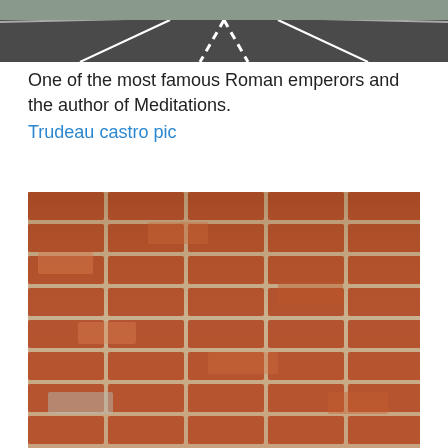[Figure (photo): Top portion of a road/highway photo cropped at the top of the page, showing road lanes and guardrails]
One of the most famous Roman emperors and the author of Meditations.
Trudeau castro pic
[Figure (photo): Close-up photo of a rustic red brick wall with mortar joints, showing aged and weathered bricks]